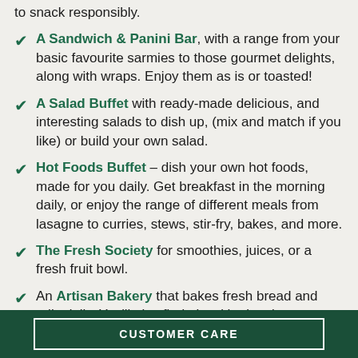to snack responsibly.
A Sandwich & Panini Bar, with a range from your basic favourite sarmies to those gourmet delights, along with wraps. Enjoy them as is or toasted!
A Salad Buffet with ready-made delicious, and interesting salads to dish up, (mix and match if you like) or build your own salad.
Hot Foods Buffet – dish your own hot foods, made for you daily. Get breakfast in the morning daily, or enjoy the range of different meals from lasagne to curries, stews, stir-fry, bakes, and more.
The Fresh Society for smoothies, juices, or a fresh fruit bowl.
An Artisan Bakery that bakes fresh bread and rolls daily. You'll also find pies, 'the best' doughnuts, muffins, tarts,
CUSTOMER CARE